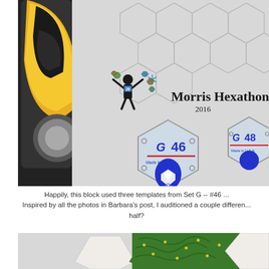[Figure (photo): Photo of quilting tools including a yellow rotary cutter, Morris Hexathon 2016 template paper, and transparent acrylic hexagon rulers with G-46 and G-48 markings and a heart-hand logo, on a gray surface]
Happily, this block used three templates from Set G -- #46 ... Inspired by all the photos in Barbara's post, I auditioned a couple different ... half?
[Figure (photo): Photo of hexagon quilt pieces showing cream/white and green patterned fabric with yellow dot details on a light gray background]